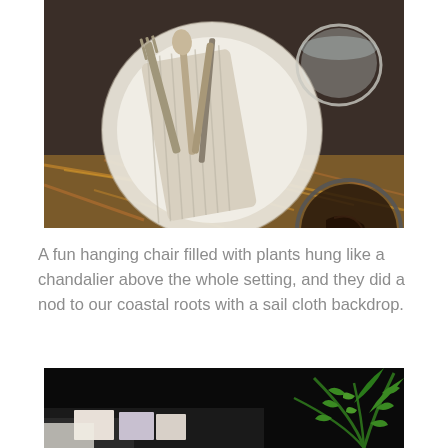[Figure (photo): Overhead view of a table setting with silverware (forks, spoons, knife) on a striped linen napkin on a white plate, with glassware including a glass of water and a glass of dark liquid, on a dark rustic table surface with warm-toned fur or textured material at the bottom.]
A fun hanging chair filled with plants hung like a chandalier above the whole setting, and they did a nod to our coastal roots with a sail cloth backdrop.
[Figure (photo): Partial view of a dark indoor event setting with fern plants visible on the right side, books or placards visible at the bottom left, against a dark background.]